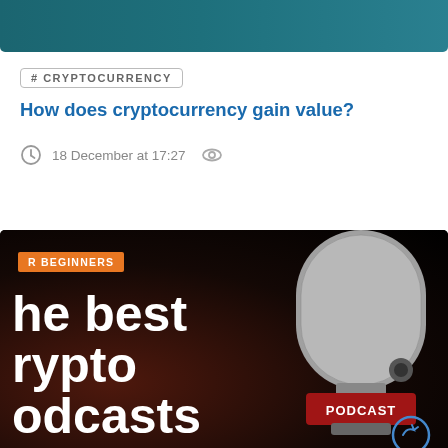[Figure (photo): Top portion of a teal/dark blue decorative header image]
# CRYPTOCURRENCY
How does cryptocurrency gain value?
18 December at 17:27
[Figure (photo): Dark background card with microphone image, orange tag reading 'R BEGINNERS', white bold text reading 'he best rypto odcasts', red PODCAST label on microphone, and circular arrow icon]